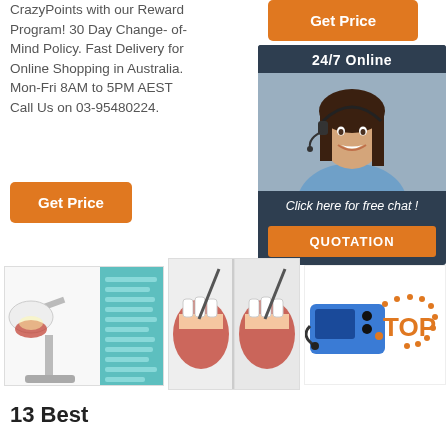CrazyPoints with our Reward Program! 30 Day Change-of-Mind Policy. Fast Delivery for Online Shopping in Australia. Mon-Fri 8AM to 5PM AEST Call Us on 03-95480224.
[Figure (other): Orange 'Get Price' button on right side]
[Figure (other): 24/7 Online customer service chat box with woman wearing headset and orange QUOTATION button]
[Figure (other): Orange 'Get Price' button on left side]
[Figure (photo): Dental light/exam lamp product image with teal info panel]
[Figure (photo): Dental X-ray or procedure illustration showing teeth]
[Figure (photo): Blue dental/medical device with TOP badge graphic]
13 Best